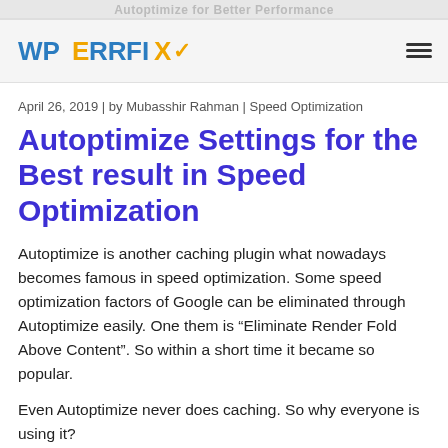Autoptimize for Better Performance
[Figure (logo): WP ERR FIX logo with blue and orange text and checkmark]
April 26, 2019 | by Mubasshir Rahman | Speed Optimization
Autoptimize Settings for the Best result in Speed Optimization
Autoptimize is another caching plugin what nowadays becomes famous in speed optimization. Some speed optimization factors of Google can be eliminated through Autoptimize easily. One them is “Eliminate Render Fold Above Content”. So within a short time it became so popular.
Even Autoptimize never does caching. So why everyone is using it?